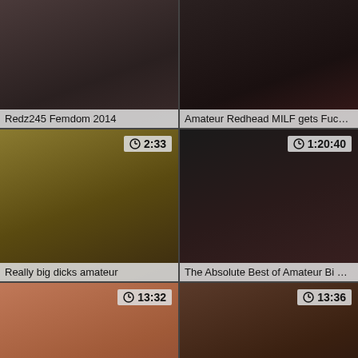[Figure (screenshot): Video thumbnail - Redz245 Femdom 2014]
Redz245 Femdom 2014
[Figure (screenshot): Video thumbnail - Amateur Redhead MILF gets Fucked, no duration shown]
Amateur Redhead MILF gets Fucked
[Figure (screenshot): Video thumbnail - Really big dicks amateur, duration 2:33]
Really big dicks amateur
[Figure (screenshot): Video thumbnail - The Absolute Best of Amateur Bi Part, duration 1:20:40]
The Absolute Best of Amateur Bi Part
[Figure (screenshot): Video thumbnail - Kiki Daire Makes You Watch Her Go, duration 13:32]
Kiki Daire Makes You Watch Her Go
[Figure (screenshot): Video thumbnail - Wife Tina with huge BBC, duration 13:36]
Wife Tina with huge BBC
[Figure (screenshot): Video thumbnail row 4 left, duration 7:38]
[Figure (screenshot): Video thumbnail row 4 right, duration 13:11]